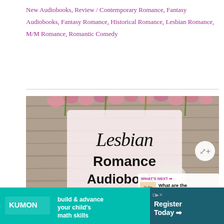New Audiobooks, Review / Contemporary Romance, Fantasy Audiobooks, Fantasy Romance, Historical Romance, Lesbian Romance, M/M Romance, Romantic Comedy
[Figure (photo): Promotional image for Lesbian Romance Audiobooks. Background shows pink flowers and wood. A white semi-transparent card overlay reads 'Lesbian Romance Audiobooks' in decorative and bold black text. A share icon button is visible top-right. A small 'What's Next' panel shows 'The Best Audiobook Apps - What are the Best...' with an arrow.]
[Figure (photo): Kumon advertisement banner: teal background with Kumon logo and text 'build & advance your child's math skills' on left; right side has 'Register Today' button with arrow on a dark teal/purple background.]